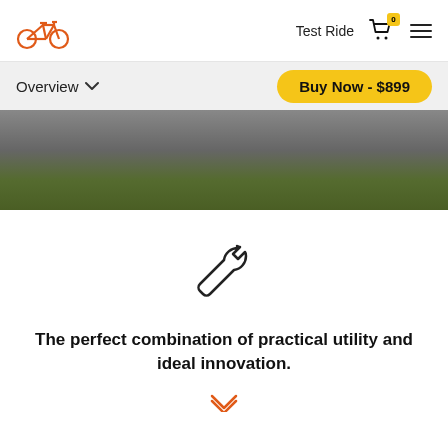Bicycle logo | Test Ride | Cart (0) | Menu
Overview ▾
Buy Now - $899
[Figure (photo): Road surface with asphalt and grass stripe hero banner image]
[Figure (illustration): Wrench / spanner icon, outline style, dark]
The perfect combination of practical utility and ideal innovation.
[Figure (illustration): Orange chevron down arrow]